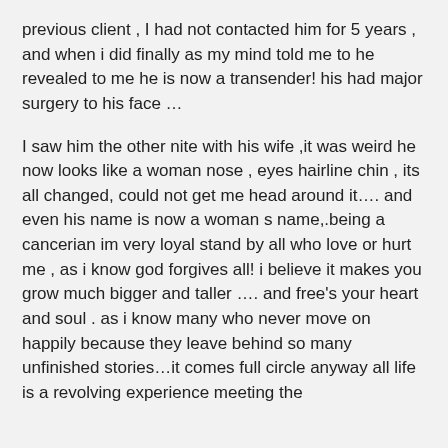previous client , I had not contacted him for 5 years , and when i did finally as my mind told me to he revealed to me he is now a transender! his had major surgery to his face …
I saw him the other nite with his wife ,it was weird he now looks like a woman nose , eyes hairline chin , its all changed, could not get me head around it…. and even his name is now a woman s name,.being a cancerian im very loyal stand by all who love or hurt me , as i know god forgives all! i believe it makes you grow much bigger and taller …. and free's your heart and soul . as i know many who never move on happily because they leave behind so many unfinished stories…it comes full circle anyway all life is a revolving experience meeting the